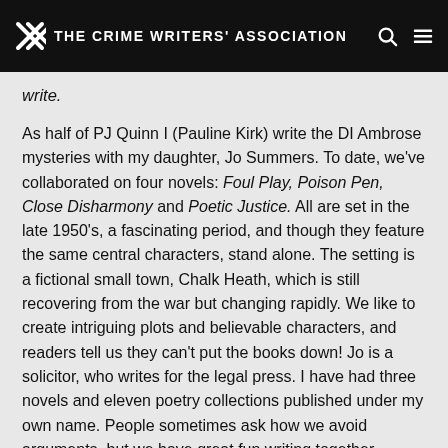THE CRIME WRITERS' ASSOCIATION
write.
As half of PJ Quinn I (Pauline Kirk) write the DI Ambrose mysteries with my daughter, Jo Summers. To date, we've collaborated on four novels: Foul Play, Poison Pen, Close Disharmony and Poetic Justice. All are set in the late 1950's, a fascinating period, and though they feature the same central characters, stand alone. The setting is a fictional small town, Chalk Heath, which is still recovering from the war but changing rapidly. We like to create intriguing plots and believable characters, and readers tell us they can't put the books down! Jo is a solicitor, who writes for the legal press. I have had three novels and eleven poetry collections published under my own name. People sometimes ask how we avoid arguments, but we have great fun writing together.
The CRA: Tell us about what you are doing during lockdown/while social distancing?